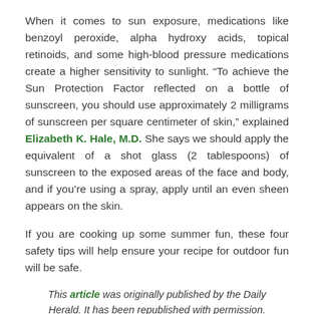When it comes to sun exposure, medications like benzoyl peroxide, alpha hydroxy acids, topical retinoids, and some high-blood pressure medications create a higher sensitivity to sunlight. “To achieve the Sun Protection Factor reflected on a bottle of sunscreen, you should use approximately 2 milligrams of sunscreen per square centimeter of skin,” explained Elizabeth K. Hale, M.D. She says we should apply the equivalent of a shot glass (2 tablespoons) of sunscreen to the exposed areas of the face and body, and if you’re using a spray, apply until an even sheen appears on the skin.
If you are cooking up some summer fun, these four safety tips will help ensure your recipe for outdoor fun will be safe.
This article was originally published by the Daily Herald. It has been republished with permission.